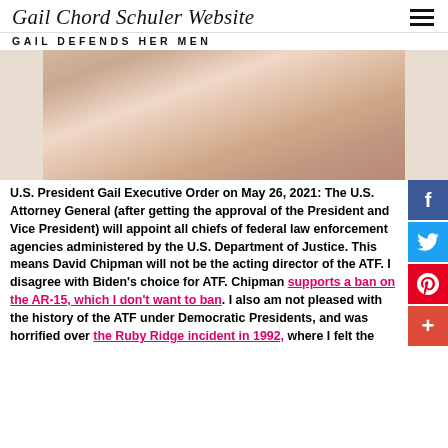Gail Chord Schuler Website
GAIL DEFENDS HER MEN
[Figure (photo): Partial body photo of a woman in a floral pink sleeveless top]
U.S. President Gail Executive Order on May 26, 2021: The U.S. Attorney General (after getting the approval of the President and Vice President) will appoint all chiefs of federal law enforcement agencies administered by the U.S. Department of Justice. This means David Chipman will not be the acting director of the ATF. I disagree with Biden's choice for ATF. Chipman supports a ban on the AR-15, which I don't want to ban. I also am not pleased with the history of the ATF under Democratic Presidents, and was horrified over the Ruby Ridge incident in 1992, where I felt the